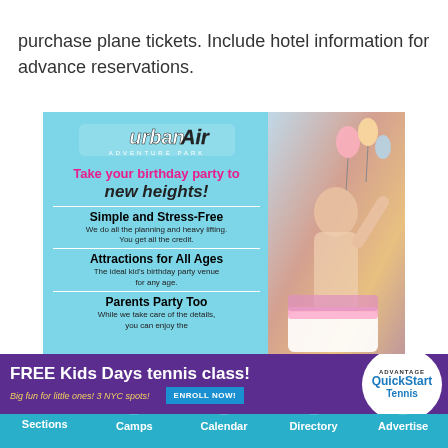purchase plane tickets. Include hotel information for advance reservations.
[Figure (illustration): Urban Air Adventure Park birthday party advertisement with logo, tagline 'Take your birthday party to new heights!', features: Simple and Stress-Free, Attractions for All Ages, Parents Party Too, and a photo of a child at a birthday party. CLOSE button overlay visible.]
[Figure (illustration): Advantage QuickStart Tennis advertisement: FREE Kids Days tennis class! Big fun for little ones! 3 NYC spots! ENROLL NOW! with QuickStart Tennis logo.]
[Figure (infographic): Navigation bar with icons for Sections (hamburger), Camps (tent), Calendar (date 26), Directory (book), Advertise (envelope with confetti)]